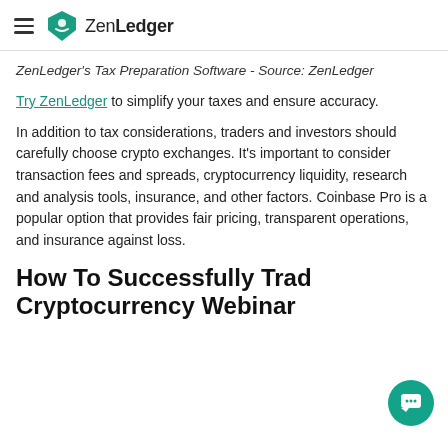ZenLedger
ZenLedger's Tax Preparation Software - Source: ZenLedger
Try ZenLedger to simplify your taxes and ensure accuracy.
In addition to tax considerations, traders and investors should carefully choose crypto exchanges. It's important to consider transaction fees and spreads, cryptocurrency liquidity, research and analysis tools, insurance, and other factors. Coinbase Pro is a popular option that provides fair pricing, transparent operations, and insurance against loss.
How To Successfully Trade Cryptocurrency Webinar